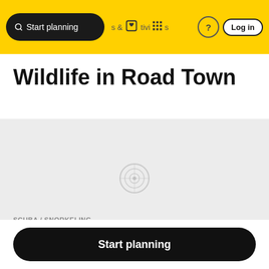Start planning  &  Activities  ?  Log in
Wildlife in Road Town
[Figure (map): Map area showing a location pin/target icon in the center, light gray background representing a map view]
SCUBA / SNORKELING
Scuba & Snorkeling
★★★★☆ 36
Start planning